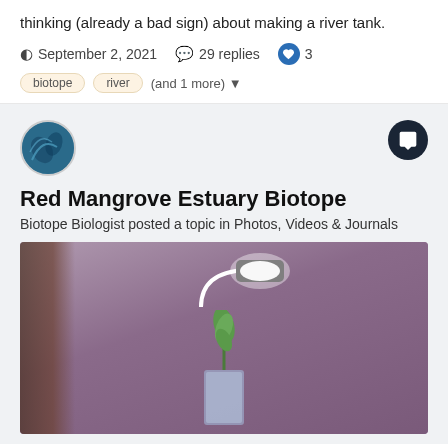thinking (already a bad sign) about making a river tank.
September 2, 2021   29 replies   3
biotope
river
(and 1 more)
Red Mangrove Estuary Biotope
Biotope Biologist posted a topic in Photos, Videos & Journals
[Figure (photo): A mangrove seedling in a clear container under a bright white LED grow light on a flexible gooseneck arm. Bookshelf visible in the background. Pinkish-purple wall behind.]